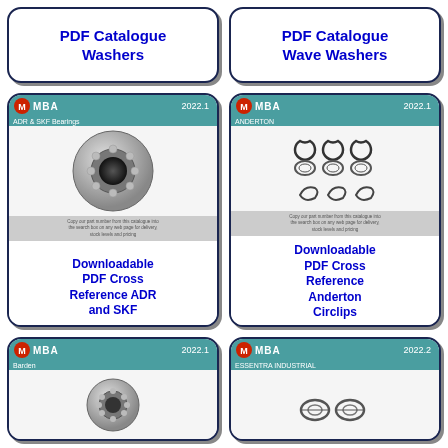[Figure (other): Partial card top-left: PDF Catalogue Washers button]
PDF Catalogue
Washers
[Figure (other): Partial card top-right: PDF Catalogue Wave Washers button]
PDF Catalogue
Wave Washers
[Figure (other): MBA 2022.1 ADR & SKF Bearings catalogue card with ball bearing image]
Downloadable
PDF Cross
Reference ADR
and SKF
[Figure (other): MBA 2022.1 ANDERTON catalogue card with circlips image]
Downloadable
PDF Cross
Reference
Anderton
Circlips
[Figure (other): MBA 2022.1 Barden catalogue card with bearing image (partial, bottom)]
[Figure (other): MBA 2022.2 Essentra Industrial catalogue card (partial, bottom)]